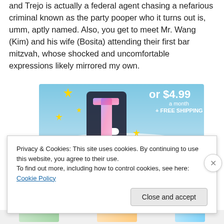and Trejo is actually a federal agent chasing a nefarious criminal known as the party pooper who it turns out is, umm, aptly named. Also, you get to meet Mr. Wang (Kim) and his wife (Bosita) attending their first bar mitzvah, whose shocked and uncomfortable expressions likely mirrored my own.
[Figure (other): Tumblr advertisement banner showing the Tumblr 't' logo in purple/pink gradient with sparkle stars on a blue sky background, with text 'or $4.99 a month + FREE SHIPPING']
Privacy & Cookies: This site uses cookies. By continuing to use this website, you agree to their use.
To find out more, including how to control cookies, see here: Cookie Policy